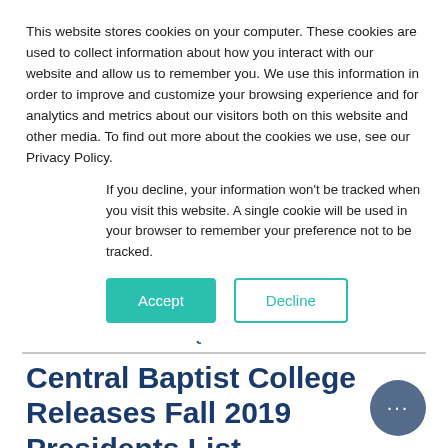This website stores cookies on your computer. These cookies are used to collect information about how you interact with our website and allow us to remember you. We use this information in order to improve and customize your browsing experience and for analytics and metrics about our visitors both on this website and other media. To find out more about the cookies we use, see our Privacy Policy.
If you decline, your information won't be tracked when you visit this website. A single cookie will be used in your browser to remember your preference not to be tracked.
Accept | Decline
VISIT QUICK LINKS
Central Baptist College Releases Fall 2019 Presidents List